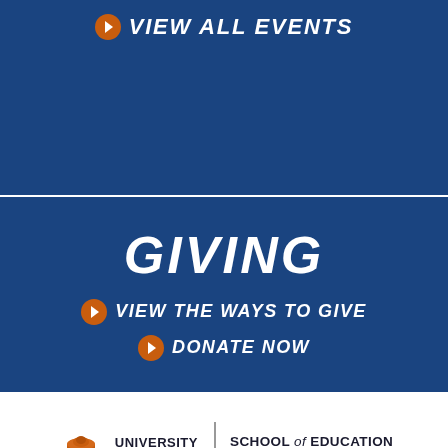VIEW ALL EVENTS
GIVING
VIEW THE WAYS TO GIVE
DONATE NOW
[Figure (logo): University of Virginia School of Education and Human Development logo with rotunda building icon]
[Figure (infographic): Social media icons: Facebook, Twitter, LinkedIn, YouTube, Instagram in orange]